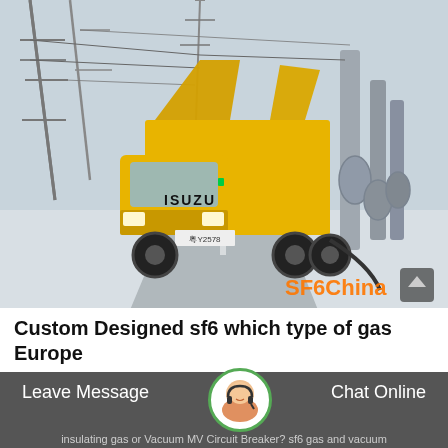[Figure (photo): Yellow Isuzu utility truck with open top panels parked at an electrical substation in winter/snowy conditions. The truck has equipment panels raised open. Substation infrastructure visible in background. Orange SF6China watermark in bottom right of photo.]
Custom Designed sf6 which type of gas Europe
Leave Message
Chat Online
insulating gas or Vacuum MV Circuit Breaker? sf6 gas and vacuum